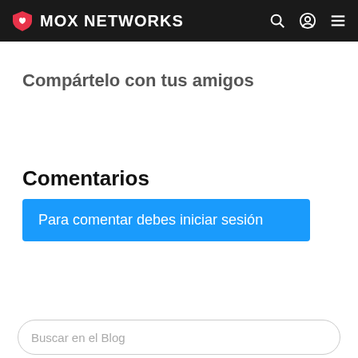MOX NETWORKS
Compártelo con tus amigos
Comentarios
Para comentar debes iniciar sesión
Buscar en el Blog